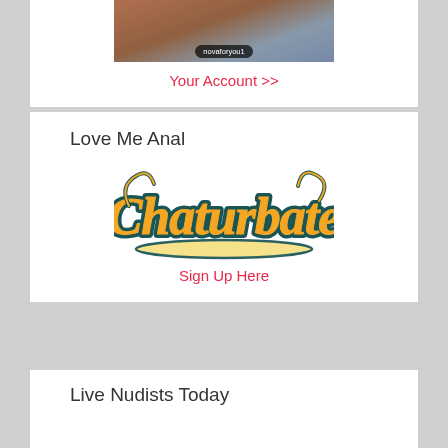[Figure (screenshot): Partial image of a person with a username badge overlay reading 'novaforyou1']
Your Account >>
Love Me Anal
[Figure (logo): Chaturbate logo in orange and teal script lettering]
Sign Up Here
Live Nudists Today